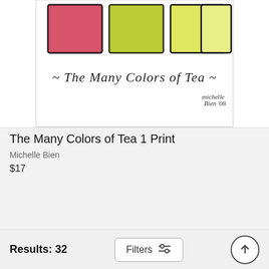[Figure (illustration): Artwork showing watercolor swatches of tea colors with cursive text 'The Many Colors of Tea' and signature 'Michelle Bien 08']
The Many Colors of Tea 1 Print
Michelle Bien
$17
[Figure (illustration): Watercolor artwork showing a 3x3 grid of color swatches in browns, greens, and yellows]
[Figure (illustration): Colorful illustration of a woman with wild curly brown hair wearing green, with purple accents on a yellow-green background with red border]
Results: 32
Filters